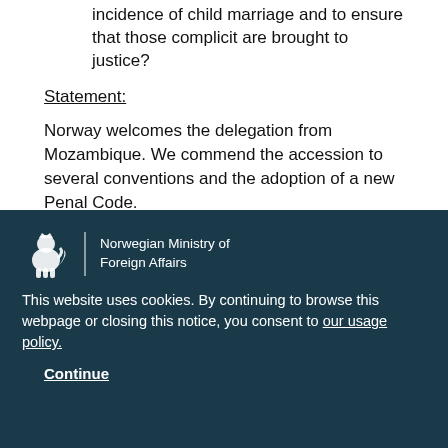incidence of child marriage and to ensure that those complicit are brought to justice?
Statement:
Norway welcomes the delegation from Mozambique. We commend the accession to several conventions and the adoption of a new Penal Code.
Norway recommends that Mozambique swiftly adopts
[Figure (logo): Norwegian Ministry of Foreign Affairs logo with lion emblem]
This website uses cookies. By continuing to browse this webpage or closing this notice, you consent to our usage policy.
Continue